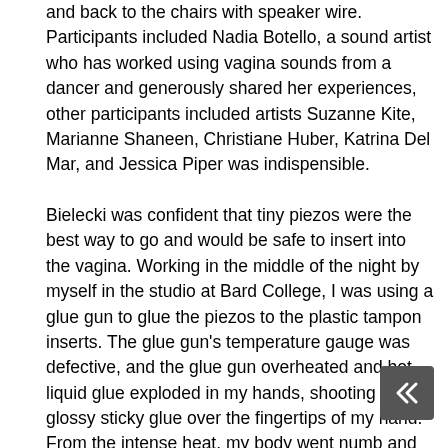and back to the chairs with speaker wire. Participants included Nadia Botello, a sound artist who has worked using vagina sounds from a dancer and generously shared her experiences, other participants included artists Suzanne Kite, Marianne Shaneen, Christiane Huber, Katrina Del Mar, and Jessica Piper was indispensible. Bielecki was confident that tiny piezos were the best way to go and would be safe to insert into the vagina. Working in the middle of the night by myself in the studio at Bard College, I was using a glue gun to glue the piezos to the plastic tampon inserts. The glue gun's temperature gauge was defective, and the glue gun overheated and hot liquid glue exploded in my hands, shooting the glossy sticky glue over the fingertips of my hand. From the intense heat, my body went numb and into shock. I tried to wipe the hot glue off with my other hand, but doing so only made things worse, as now both hands had burning fingertips. I ran to a water fountain and tried running the water over my fingertips to cool them off. It helped a little. Eventually I made it to the Emergency Room at the Burn